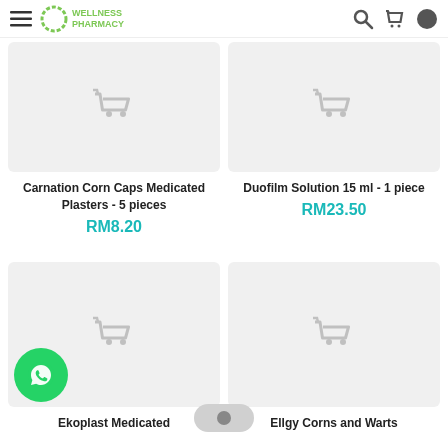Wellness Pharmacy
[Figure (photo): Product placeholder image for Carnation Corn Caps Medicated Plasters - 5 pieces with shopping cart icon]
Carnation Corn Caps Medicated Plasters - 5 pieces
RM8.20
[Figure (photo): Product placeholder image for Duofilm Solution 15 ml - 1 piece with shopping cart icon]
Duofilm Solution 15 ml - 1 piece
RM23.50
[Figure (photo): Product placeholder image for Ekoplast Medicated with shopping cart icon]
[Figure (photo): Product placeholder image for Ellgy Corns and Warts with shopping cart icon]
Ekoplast Medicated
Ellgy Corns and Warts